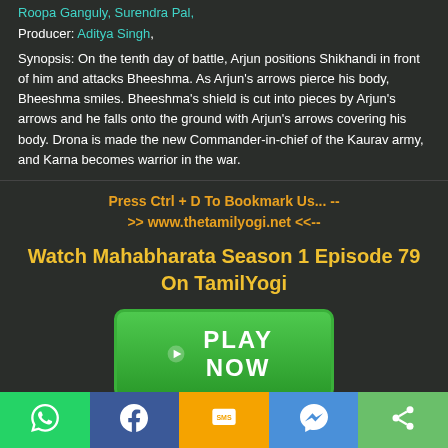Roopa Ganguly, Surendra Pal,
Producer: Aditya Singh,
Synopsis: On the tenth day of battle, Arjun positions Shikhandi in front of him and attacks Bheeshma. As Arjun's arrows pierce his body, Bheeshma smiles. Bheeshma's shield is cut into pieces by Arjun's arrows and he falls onto the ground with Arjun's arrows covering his body. Drona is made the new Commander-in-chief of the Kaurav army, and Karna becomes warrior in the war.
Press Ctrl + D To Bookmark Us... -- >> www.thetamilyogi.net <<--
Watch Mahabharata Season 1 Episode 79 On TamilYogi
[Figure (other): Green PLAY NOW button with play triangle icon]
Social sharing bar: WhatsApp, Facebook, SMS, Messenger, Share